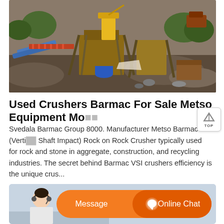[Figure (photo): Aerial view of a mining/quarry site with crushers, conveyors, heavy equipment including a yellow crane, and rocky terrain]
Used Crushers Barmac For Sale Metso Equipment Mo...
Svedala Barmac Group 8000. Manufacturer Metso Barmac VSI (Vertical Shaft Impact) Rock on Rock Crusher typically used for rock and stone in aggregate, construction, and recycling industries. The secret behind Barmac VSI crushers efficiency is the unique crus...
[Figure (photo): Bottom banner with a customer service representative and orange Message and Online Chat buttons]